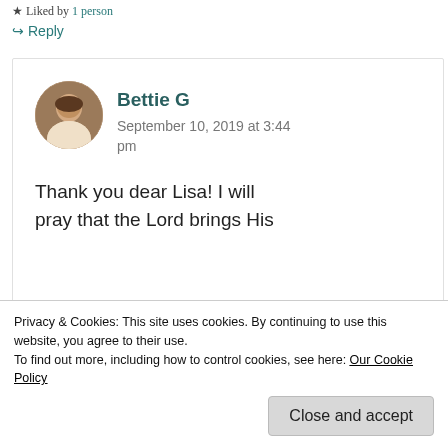Liked by 1 person
↪ Reply
Bettie G
September 10, 2019 at 3:44 pm
Thank you dear Lisa! I will pray that the Lord brings His
friend!
Privacy & Cookies: This site uses cookies. By continuing to use this website, you agree to their use.
To find out more, including how to control cookies, see here: Our Cookie Policy
Close and accept